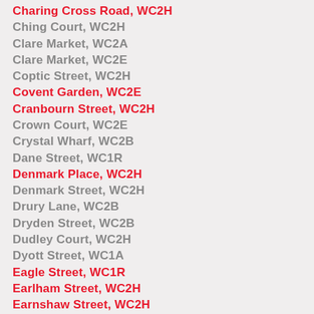Charing Cross Road, WC2H
Ching Court, WC2H
Clare Market, WC2A
Clare Market, WC2E
Coptic Street, WC2H
Covent Garden, WC2E
Cranbourn Street, WC2H
Crown Court, WC2E
Crystal Wharf, WC2B
Dane Street, WC1R
Denmark Place, WC2H
Denmark Street, WC2H
Drury Lane, WC2B
Dryden Street, WC2B
Dudley Court, WC2H
Dyott Street, WC1A
Eagle Street, WC1R
Earlham Street, WC2H
Earnshaw Street, WC2H